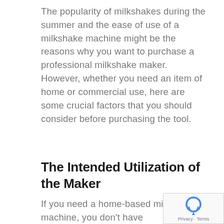The popularity of milkshakes during the summer and the ease of use of a milkshake machine might be the reasons why you want to purchase a professional milkshake maker. However, whether you need an item of home or commercial use, here are some crucial factors that you should consider before purchasing the tool.
The Intended Utilization of the Maker
If you need a home-based milkshake machine, you don't have